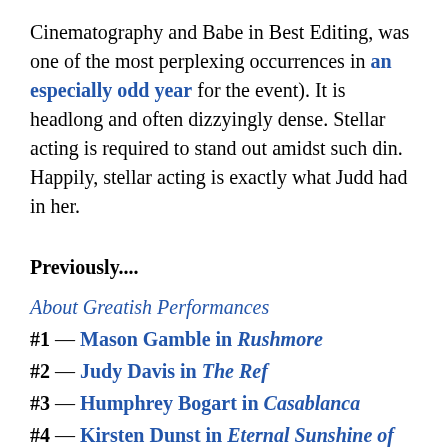Cinematography and Babe in Best Editing, was one of the most perplexing occurrences in an especially odd year for the event). It is headlong and often dizzyingly dense. Stellar acting is required to stand out amidst such din. Happily, stellar acting is exactly what Judd had in her.
Previously....
About Greatish Performances
#1 — Mason Gamble in Rushmore
#2 — Judy Davis in The Ref
#3 — Humphrey Bogart in Casablanca
#4 — Kirsten Dunst in Eternal Sunshine of the Spotless Mind
#5 — Parker Posey in Waiting for Guffman